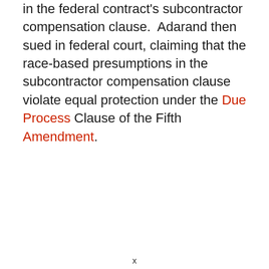in the federal contract's subcontractor compensation clause.  Adarand then sued in federal court, claiming that the race-based presumptions in the subcontractor compensation clause violate equal protection under the Due Process Clause of the Fifth Amendment.
x